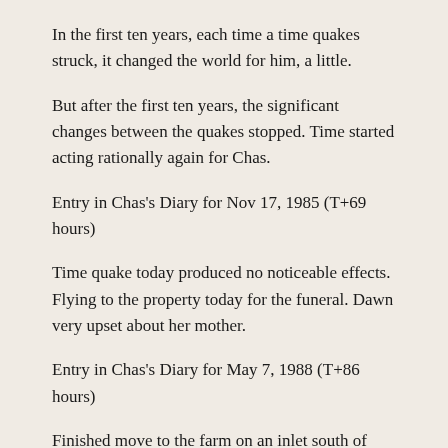In the first ten years, each time a time quakes struck, it changed the world for him, a little.
But after the first ten years, the significant changes between the quakes stopped. Time started acting rationally again for Chas.
Entry in Chas's Diary for Nov 17, 1985 (T+69 hours)
Time quake today produced no noticeable effects. Flying to the property today for the funeral. Dawn very upset about her mother.
Entry in Chas's Diary for May 7, 1988 (T+86 hours)
Finished move to the farm on an inlet south of Nowra. The old farmhouse is too small for us all.
Entry in Chas's Diary for January 11, 1991 (T+110 hours)